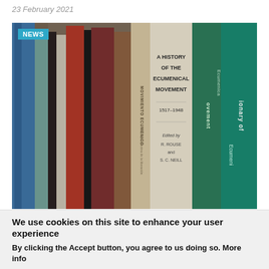23 February 2021
[Figure (photo): Close-up photograph of book spines on a shelf, including titles such as 'A History of the Ecumenical Movement 1517-1948 edited by R. Rouse and S. C. Neill', 'MOVIMIENTO ECUMENICO', and a green book labeled 'Dictionary of Ecumenical Movement'. A teal NEWS badge is in the top-left corner.]
Steps begin toward reopening historical
We use cookies on this site to enhance your user experience
By clicking the Accept button, you agree to us doing so. More info